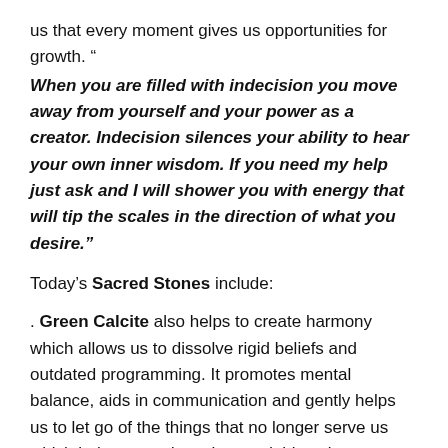us that every moment gives us opportunities for growth. “
When you are filled with indecision you move away from yourself and your power as a creator. Indecision silences your ability to hear your own inner wisdom. If you need my help just ask and I will shower you with energy that will tip the scales in the direction of what you desire.”
Today’s Sacred Stones include:
. Green Calcite also helps to create harmony which allows us to dissolve rigid beliefs and outdated programming. It promotes mental balance, aids in communication and gently helps us to let go of the things that no longer serve us which helps us to draw the good things into our lives that encourage growth. ( Calcite can also be used to promote the balance of your chakras.